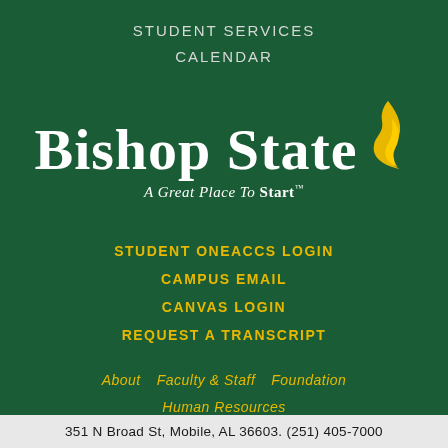STUDENT SERVICES CALENDAR
[Figure (logo): Bishop State Community College logo with flame icon and tagline 'A Great Place To Start']
STUDENT ONEACCS LOGIN
CAMPUS EMAIL
CANVAS LOGIN
REQUEST A TRANSCRIPT
About   Faculty & Staff   Foundation   Human Resources
351 N Broad St, Mobile, AL 36603. (251) 405-7000